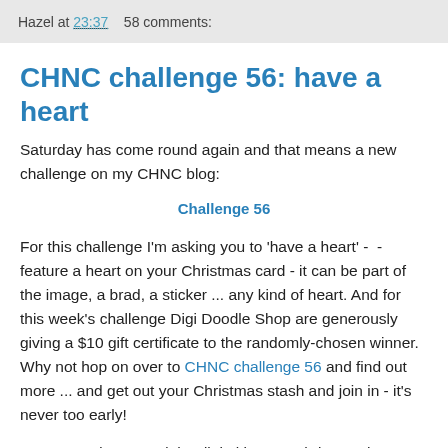Hazel at 23:37   58 comments:
CHNC challenge 56: have a heart
Saturday has come round again and that means a new challenge on my CHNC blog:
Challenge 56
For this challenge I'm asking you to 'have a heart' -  - feature a heart on your Christmas card - it can be part of the image, a brad, a sticker ... any kind of heart. And for this week's challenge Digi Doodle Shop are generously giving a $10 gift certificate to the randomly-chosen winner. Why not hop on over to CHNC challenge 56 and find out more ... and get out your Christmas stash and join in - it's never too early!
For my card I've used the digital image 'Christmas heart' which was kindly given to me by Digi Doodle Shop. just one